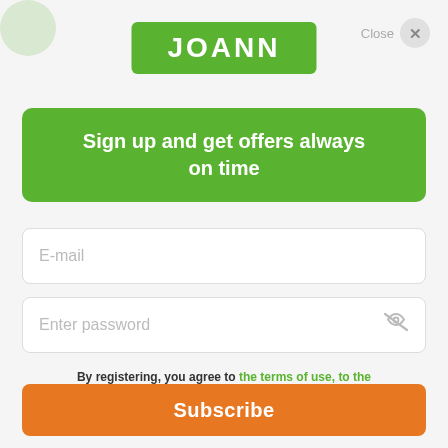[Figure (logo): JOANN logo — white bold text on green rounded rectangle]
Sign up and get offers always on time
E-mail
Enter password
By registering, you agree to the terms of use, to the processing of personal data and to receive e-mails and personalized notifications
Subscribe